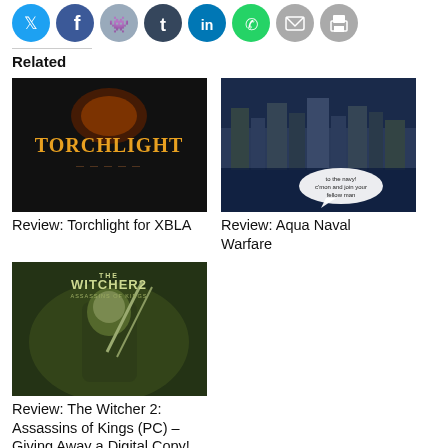[Figure (infographic): Row of social media share icons: Twitter (blue), Facebook (blue), Reddit (gray/teal), Tumblr (dark blue), LinkedIn (blue), WhatsApp (green), Email (gray), Print (gray)]
Related
[Figure (photo): Torchlight video game logo on dark background — orange stylized text 'TORCHLIGHT' with flame/dragon emblem]
Review: Torchlight for XBLA
[Figure (photo): Aqua Naval Warfare screenshot — comic-style city skyline over water at night with a speech bubble saying 'to the navy! c'mon and join your fellow man']
Review: Aqua Naval Warfare
[Figure (photo): The Witcher 2: Assassins of Kings game cover — warrior character with swords on a dark green atmospheric background with title logo]
Review: The Witcher 2: Assassins of Kings (PC) – Giving Away a Digital Copy!